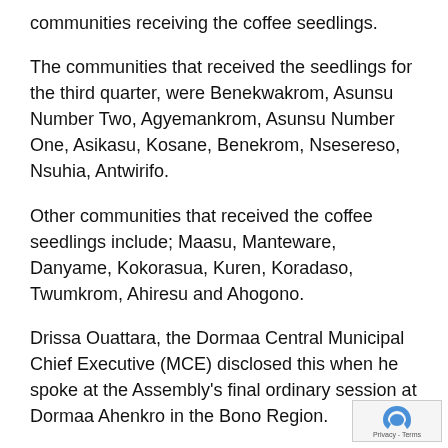communities receiving the coffee seedlings.
The communities that received the seedlings for the third quarter, were Benekwakrom, Asunsu Number Two, Agyemankrom, Asunsu Number One, Asikasu, Kosane, Benekrom, Nsesereso, Nsuhia, Antwirifo.
Other communities that received the coffee seedlings include; Maasu, Manteware, Danyame, Kokorasua, Kuren, Koradaso, Twumkrom, Ahiresu and Ahogono.
Drissa Ouattara, the Dormaa Central Municipal Chief Executive (MCE) disclosed this when he spoke at the Assembly's final ordinary session at Dormaa Ahenkro in the Bono Region.
Accoring to him, the Ministry of Food and Agriculture also distributed cocoa fertilisers and pesticides aga